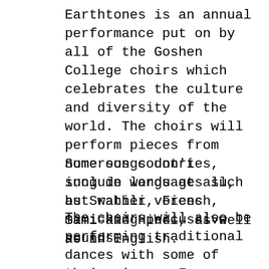Earthtones is an annual performance put on by all of the Goshen College choirs which celebrates the culture and diversity of the world. The choirs will perform pieces from numerous countries, sung in languages such as Swahili, French, Sami and Hindi, as well as in English.
Some songs don't include words at all, but rather voices mimicking percussive sounds.
The choirs will also be performing traditional dances with some of their pieces. For example, sophomores Meghna Das, Eden George and Elsie Liechty collaborated with the ensembles to teach them an Indian inspired dance for the combined piece.